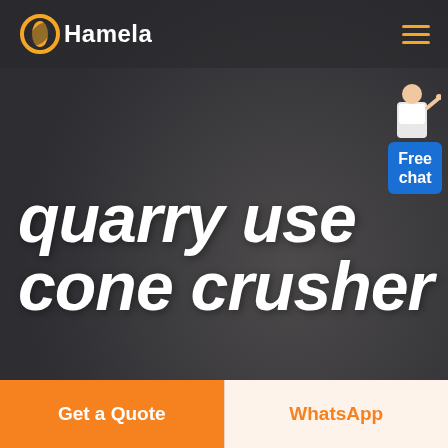[Figure (screenshot): Hamela website header with logo, hamburger menu, dark hero background with blurred person wearing glasses, large italic bold white text 'quarry use cone crusher', and a Free chat widget in top right.]
quarry use cone crusher
Free chat
Get a Quote
WhatsApp